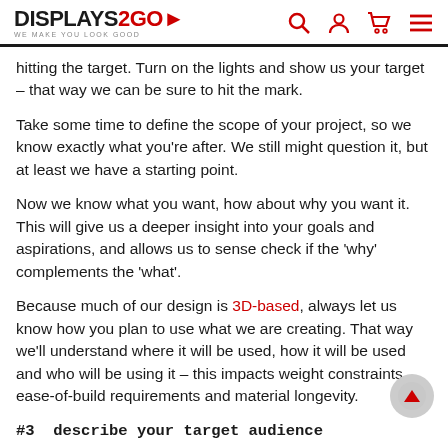DISPLAYS2GO - WE MAKE YOU LOOK GOOD
hitting the target. Turn on the lights and show us your target – that way we can be sure to hit the mark.
Take some time to define the scope of your project, so we know exactly what you're after. We still might question it, but at least we have a starting point.
Now we know what you want, how about why you want it. This will give us a deeper insight into your goals and aspirations, and allows us to sense check if the 'why' complements the 'what'.
Because much of our design is 3D-based, always let us know how you plan to use what we are creating. That way we'll understand where it will be used, how it will be used and who will be using it – this impacts weight constraints, ease-of-build requirements and material longevity.
#3  describe your target audience